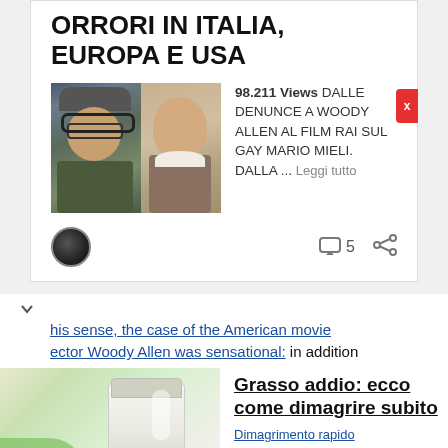ORRORI IN ITALIA, EUROPA E USA
[Figure (photo): Two photographs side by side: an older man with glasses and a bucket hat wearing headphones, and a younger man's portrait in black and white.]
98.211 Views DALLE DENUNCE A WOODY ALLEN AL FILM RAI SUL GAY MARIO MIELI. DALLA ... Leggi tutto
this sense, the case of the American movie ector Woody Allen was sensational: in addition
[Figure (photo): Food photo: a jar of white cream/yogurt with green plant leaves (aloe vera) on a blurred background.]
Grasso addio: ecco come dimagrire subito
Dimagrimento rapido
aughter, whom he later